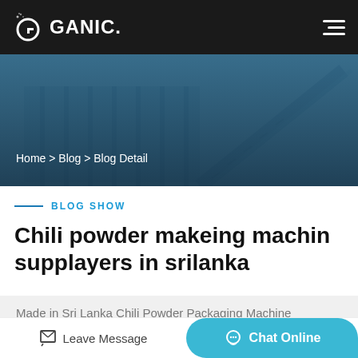GANIC.
[Figure (photo): Industrial machinery/factory hero image with blue tint overlay, showing conveyor and structural framework]
Home > Blog > Blog Detail
BLOG SHOW
Chili powder makeing machin supplayers in srilanka
Made in Sri Lanka Chili Powder Packaging Machine Directory - Offering Wholesale Sri Lankan Chili Powder
Leave Message | Chat Online